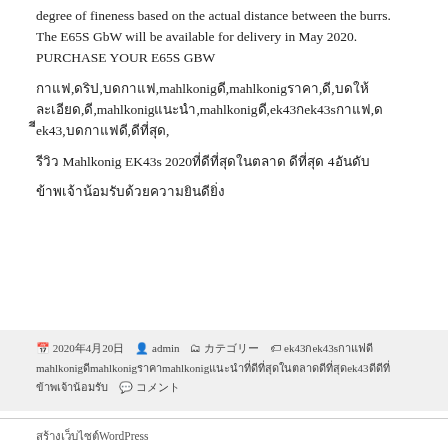degree of fineness based on the actual distance between the burrs. The E65S GbW will be available for delivery in May 2020. PURCHASE YOUR E65S GBW
กาแฟ,ดริป,บดกาแฟ,mahlkonigดี,mahlkonigราคา,ดี,บดให้ละเอียด,ดี,mahlkonigแนะนำ,mahlkonigดี,ek43กek43sกาแฟ,ดีek43,บดกาแฟดี,ดีที่สุด,
รีวิว Mahlkonig EK43s 2020ที่ดีที่สุดในตลาด ดีที่สุด 4อันดับ
ข้าพเจ้าน้อมรับด้วยความยินดียิ่ง
2020年4月20日  admin  カテゴリー  ek43กek43sกาแฟดี mahlkonigดีmahlkonigราคาmahlkonigแนะนำที่ดีที่สุดในตลาดดีที่สุดek43ดีข้าพเจ้าน้อมรับ  コメント
สร้างเว็บไซต์WordPress